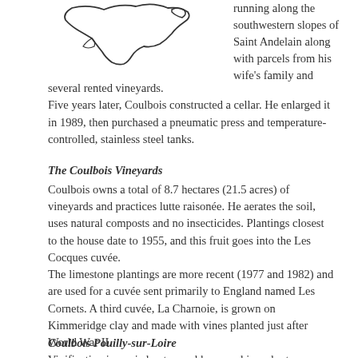[Figure (map): Outline map of a wine region, showing the shape of Saint Andelain and surrounding area.]
running along the southwestern slopes of Saint Andelain along with parcels from his wife's family and several rented vineyards.
Five years later, Coulbois constructed a cellar. He enlarged it in 1989, then purchased a pneumatic press and temperature-controlled, stainless steel tanks.
The Coulbois Vineyards
Coulbois owns a total of 8.7 hectares (21.5 acres) of vineyards and practices lutte raisonée. He aerates the soil, uses natural composts and no insecticides. Plantings closest to the house date to 1955, and this fruit goes into the Les Cocques cuvée.
The limestone plantings are more recent (1977 and 1982) and are used for a cuvée sent primarily to England named Les Cornets. A third cuvée, La Charnoie, is grown on Kimmeridge clay and made with vines planted just after World War II.
Vinification is carried out parcel by parcel in order to highlight the special features of each vineyard plot. The pressing is gentle as not to extract unwanted phenolics. The fermentation takes place at cool temperatures in order to preserve the grape’s natural aromatics. The storage vats are fairly squat, allowing a larger surface area for a healthy exchange between the wine and its lees during the wine’s upbringing.
Coulbois Pouilly-sur-Loire